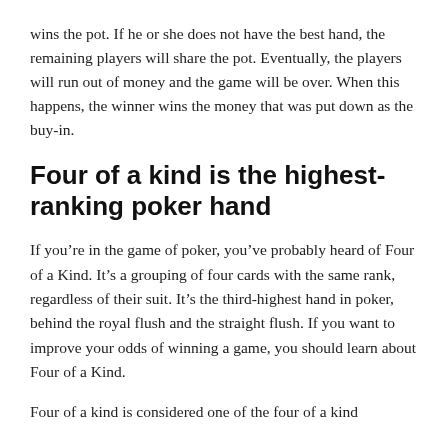wins the pot. If he or she does not have the best hand, the remaining players will share the pot. Eventually, the players will run out of money and the game will be over. When this happens, the winner wins the money that was put down as the buy-in.
Four of a kind is the highest-ranking poker hand
If you’re in the game of poker, you’ve probably heard of Four of a Kind. It’s a grouping of four cards with the same rank, regardless of their suit. It’s the third-highest hand in poker, behind the royal flush and the straight flush. If you want to improve your odds of winning a game, you should learn about Four of a Kind.
Four of a kind is considered one of the four of a kind